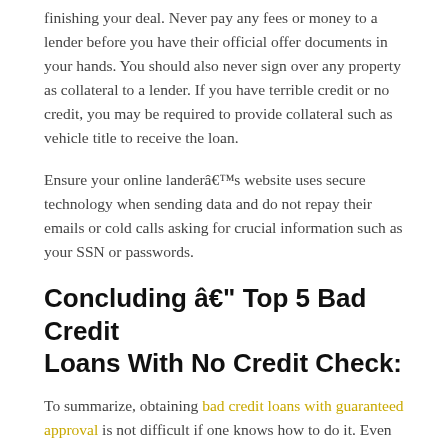finishing your deal. Never pay any fees or money to a lender before you have their official offer documents in your hands. You should also never sign over any property as collateral to a lender. If you have terrible credit or no credit, you may be required to provide collateral such as vehicle title to receive the loan.
Ensure your online lander’s website uses secure technology when sending data and do not repay their emails or cold calls asking for crucial information such as your SSN or passwords.
Concluding – Top 5 Bad Credit Loans With No Credit Check:
To summarize, obtaining bad credit loans with guaranteed approval is not difficult if one knows how to do it. Even for individuals who have never acquired money from such sources before, the methods for obtaining loans for bad credit are